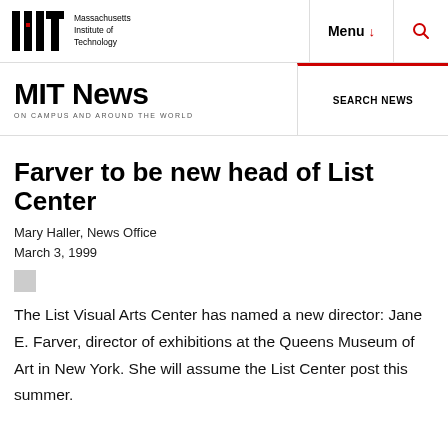MIT — Massachusetts Institute of Technology | Menu | Search
MIT News ON CAMPUS AND AROUND THE WORLD | SEARCH NEWS
Farver to be new head of List Center
Mary Haller, News Office
March 3, 1999
The List Visual Arts Center has named a new director: Jane E. Farver, director of exhibitions at the Queens Museum of Art in New York. She will assume the List Center post this summer.